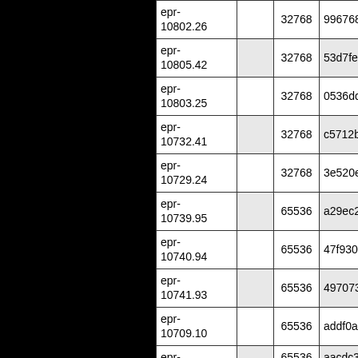|  |  |  |  |  |
| --- | --- | --- | --- | --- |
| epr-10802.26 |  | 32768 | 996768bd |  |
| epr-10805.42 |  | 32768 | 53d7fe50 |  |
| epr-10803.25 |  | 32768 | 0536dd33 |  |
| epr-10732.41 |  | 32768 | c5712bfc |  |
| epr-10729.24 |  | 32768 | 3e520e30 |  |
| epr-10739.95 |  | 65536 | a29ec207 |  |
| epr-10740.94 |  | 65536 | 47f93015 |  |
| epr-10741.93 |  | 65536 | 4970739c |  |
| epr-10709.10 |  | 65536 | addf0a90 |  |
| epr- |  | 65536 | aacdc3c... |  |